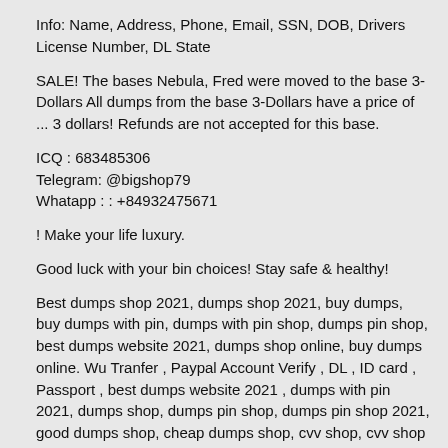Info: Name, Address, Phone, Email, SSN, DOB, Drivers License Number, DL State
SALE! The bases Nebula, Fred were moved to the base 3-Dollars All dumps from the base 3-Dollars have a price of ... 3 dollars! Refunds are not accepted for this base.
ICQ : 683485306
Telegram: @bigshop79
Whatapp : : +84932475671
! Make your life luxury.
Good luck with your bin choices! Stay safe & healthy!
Best dumps shop 2021, dumps shop 2021, buy dumps, buy dumps with pin, dumps with pin shop, dumps pin shop, best dumps website 2021, dumps shop online, buy dumps online. Wu Tranfer , Paypal Account Verify , DL , ID card , Passport , best dumps website 2021 , dumps with pin 2021, dumps shop, dumps pin shop, dumps pin shop 2021, good dumps shop, cheap dumps shop, cvv shop, cvv shop online, best cvv shop, good cvv shop, good dumps pin, dumps 101, dumps 201 , dumps shop 101, dumps shop 201